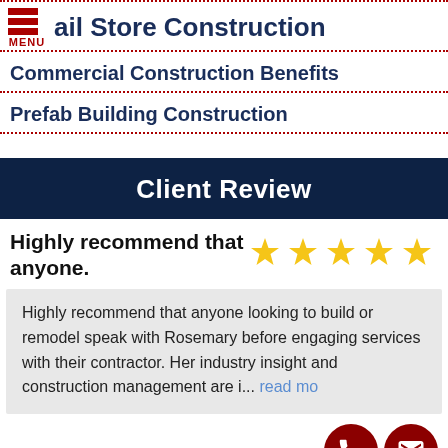ail Store Construction
Commercial Construction Benefits
Prefab Building Construction
Client Review
Highly recommend that anyone.
Highly recommend that anyone looking to build or remodel speak with Rosemary before engaging services with their contractor. Her industry insight and construction management are i... read more
Kim ager